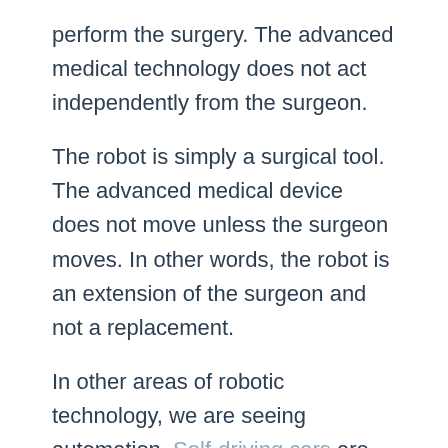perform the surgery. The advanced medical technology does not act independently from the surgeon.
The robot is simply a surgical tool. The advanced medical device does not move unless the surgeon moves. In other words, the robot is an extension of the surgeon and not a replacement.
In other areas of robotic technology, we are seeing automation. Self-driving cars are one example. But this has no relation to robotic surgery, so you shouldn't worry about robots performing surgery anytime soon.